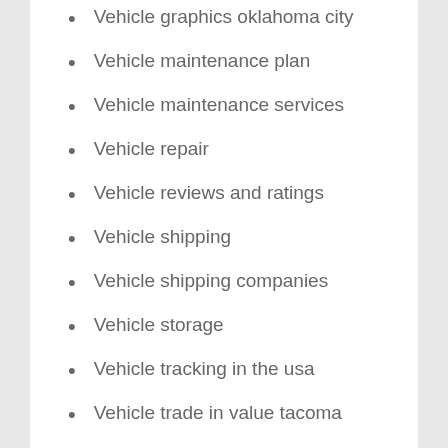Vehicle graphics oklahoma city
Vehicle maintenance plan
Vehicle maintenance services
Vehicle repair
Vehicle reviews and ratings
Vehicle shipping
Vehicle shipping companies
Vehicle storage
Vehicle tracking in the usa
Vehicle trade in value tacoma
Vehicle transport
Ventura auto dealer